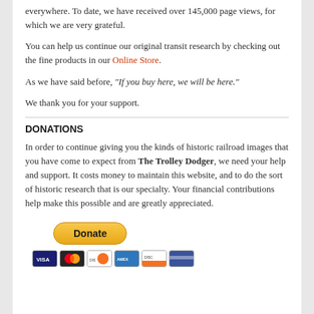everywhere. To date, we have received over 145,000 page views, for which we are very grateful.
You can help us continue our original transit research by checking out the fine products in our Online Store.
As we have said before, “If you buy here, we will be here.”
We thank you for your support.
DONATIONS
In order to continue giving you the kinds of historic railroad images that you have come to expect from The Trolley Dodger, we need your help and support. It costs money to maintain this website, and to do the sort of historic research that is our specialty. Your financial contributions help make this possible and are greatly appreciated.
[Figure (other): PayPal Donate button and payment card icons (Visa, Mastercard, Discover, Amex, and another card)]